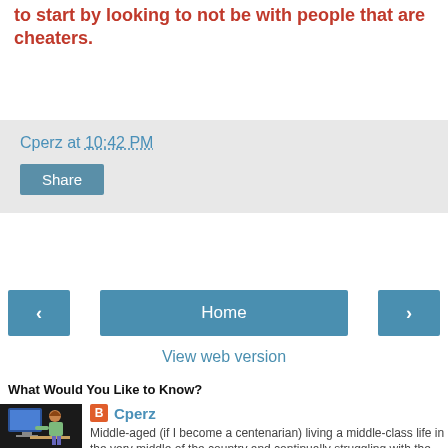to start by looking to not be with people that are cheaters.
Cperz at 10:42 PM
Share
Home
View web version
What Would You Like to Know?
Cperz
Middle-aged (if I become a centenarian) living a middle-class life in the very middle of the country and continually struggling with the pros and cons of every